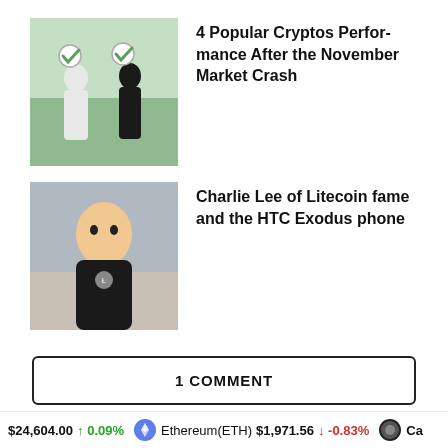[Figure (photo): Two people holding checkmark signs outdoors]
4 Popular Cryptos Performance After the November Market Crash
[Figure (photo): Charlie Lee in a black shirt, associated with Litecoin]
Charlie Lee of Litecoin fame and the HTC Exodus phone
1 COMMENT
ALSO ON GLOBAL COIN REPORT
[Figure (photo): Ethereum coin with golden coins in background]
[Figure (photo): Bitcoin logo with server/data center background]
$24,604.00 ↑ 0.09% Ethereum(ETH) $1,971.56 ↓ -0.83% Ca